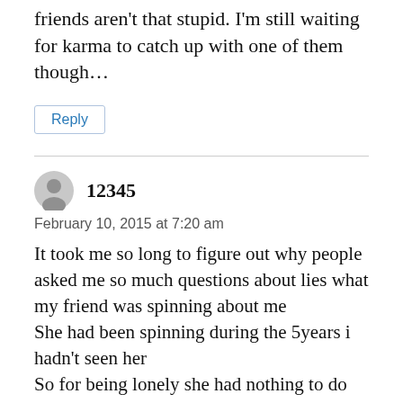friends aren't that stupid. I'm still waiting for karma to catch up with one of them though…
Reply
12345
February 10, 2015 at 7:20 am
It took me so long to figure out why people asked me so much questions about lies what my friend was spinning about me
She had been spinning during the 5years i hadn't seen her
So for being lonely she had nothing to do other then make me look bad make my life hell
But soon as u catch them out ur life becomes an